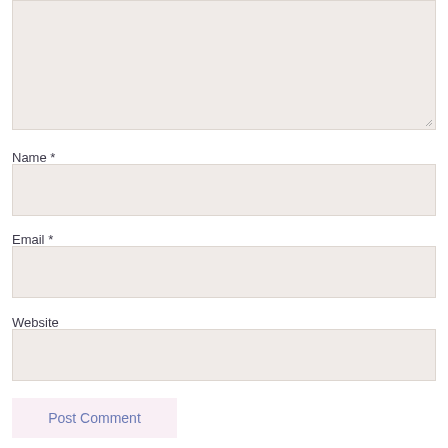[Figure (screenshot): Comment textarea input box (empty, beige/light background) with resize handle at bottom-right corner]
Name *
[Figure (screenshot): Name input field (empty, beige/light background)]
Email *
[Figure (screenshot): Email input field (empty, beige/light background)]
Website
[Figure (screenshot): Website input field (empty, beige/light background)]
Post Comment